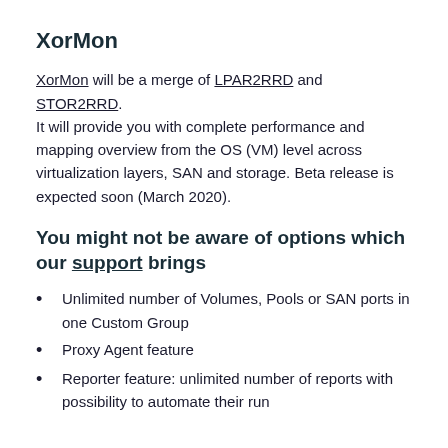XorMon
XorMon will be a merge of LPAR2RRD and STOR2RRD. It will provide you with complete performance and mapping overview from the OS (VM) level across virtualization layers, SAN and storage. Beta release is expected soon (March 2020).
You might not be aware of options which our support brings
Unlimited number of Volumes, Pools or SAN ports in one Custom Group
Proxy Agent feature
Reporter feature: unlimited number of reports with possibility to automate their run